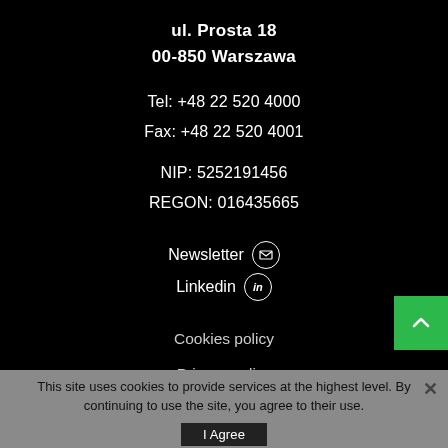ul. Prosta 18
00-850 Warszawa
Tel: +48 22 520 4000
Fax: +48 22 520 4001
NIP: 5252191456
REGON: 016435665
Newsletter
Linkedin
Cookies policy
Privacy policy
This site uses cookies to provide services at the highest level. By continuing to use the site, you agree to their use.
I Agree